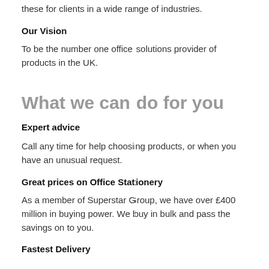these for clients in a wide range of industries.
Our Vision
To be the number one office solutions provider of products in the UK.
What we can do for you
Expert advice
Call any time for help choosing products, or when you have an unusual request.
Great prices on Office Stationery
As a member of Superstar Group, we have over £400 million in buying power. We buy in bulk and pass the savings on to you.
Fastest Delivery